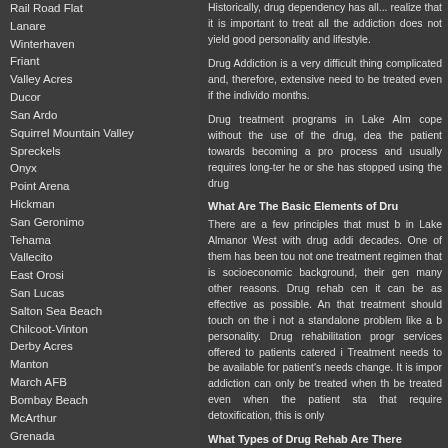Rail Road Flat
Lanare
Winterhaven
Friant
Valley Acres
Ducor
San Ardo
Squirrel Mountain Valley
Spreckels
Onyx
Point Arena
Hickman
San Geronimo
Tehama
Vallecito
East Orosi
San Lucas
Salton Sea Beach
Chilcoot-Vinton
Derby Acres
Manton
March AFB
Bombay Beach
McArthur
Grenada
Beckwourth
Keene
Lake Almanor Peninsula
Lake Almanor West
Iron Horse
Plumas Eureka
Dillon Beach
Trinidad
Moss Landing
Lemon Cove
Ocotillo
Muir Beach
Cromberg
Hornbrook
Find More Results
Historically, drug dependency has... realize that it is important to treat all... the addiction does not yield good... personality and lifestyle.
Drug Addiction is a very difficult thing... complicated and, therefore, extensive... need to be treated even if the individ... months.
Drug treatment programs in Lake Alm... cope without the use of the drug, dea... the patient towards becoming a pro... process and usually requires long-ter... he or she has stopped using the drug
What Are The Basic Elements of Dru
There are a few principles that must b... in Lake Almanor West with drug addi... decades. One of them has been tou... not one treatment regimen that is... socioeconomic background, their gen... many other reasons. Drug rehab cen... it can be as effective as possible. An... that treatment should touch on the i... not a standalone problem like a b... personality. Drug rehabilitation progr... services offered to patients catered i... Treatment needs to be available for... patient's needs change. It is impor... addiction can only be treated when th... be treated even when the patient sta... that require detoxification, this is only
What Types of Drug Rehab Are There
The most common type of drug trea... mental health professionals in la...